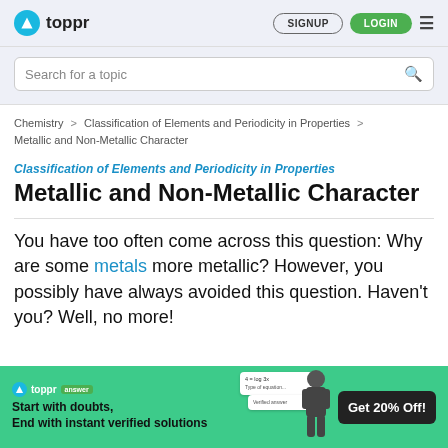toppr | SIGNUP | LOGIN
Search for a topic
Chemistry > Classification of Elements and Periodicity in Properties > Metallic and Non-Metallic Character
Classification of Elements and Periodicity in Properties
Metallic and Non-Metallic Character
You have too often come across this question: Why are some metals more metallic? However, you possibly have always avoided this question. Haven't you? Well, no more!
[Figure (other): Toppr Answer promotional banner: Start with doubts, End with instant verified solutions. Get 20% Off!]